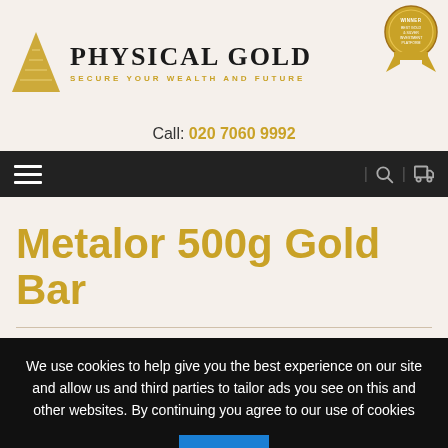[Figure (logo): Physical Gold company logo with gold triangle/pyramid graphic on left, company name 'PHYSICAL GOLD' in serif font, tagline 'SECURE YOUR WEALTH AND FUTURE' in gold, and a winner award badge on the right.]
Call: 020 7060 9992
[Figure (other): Dark navigation bar with hamburger menu icon on left and search and cart icons on the right.]
Metalor 500g Gold Bar
We use cookies to help give you the best experience on our site and allow us and third parties to tailor ads you see on this and other websites. By continuing you agree to our use of cookies
OK